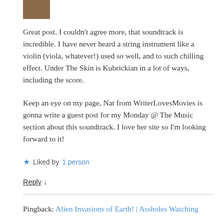[Figure (photo): Small avatar/profile image thumbnail, partially cropped at top]
Great post. I couldn't agree more, that soundtrack is incredible. I have never heard a string instrument like a violin (viola, whatever!) used so well, and to such chilling effect. Under The Skin is Kubrickian in a lot of ways, including the score.
Keep an eye on my page, Nat from WriterLovesMovies is gonna write a guest post for my Monday @ The Music section about this soundtrack. I love her site so I'm looking forward to it!
★ Liked by 1 person
Reply ↓
Pingback: Alien Invasions of Earth! | Assholes Watching